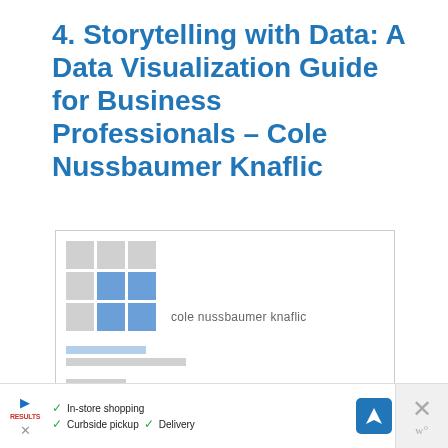4. Storytelling with Data: A Data Visualization Guide for Business Professionals – Cole Nussbaumer Knaflic
[Figure (illustration): Book cover thumbnail for 'Storytelling with Data' by Cole Nussbaumer Knaflic, showing abstract data visualization graphics (grid blocks, small bar-like shapes, converging lines) on the left side and the author name and 'storytelling' title text on the right side.]
In-store shopping  Curbside pickup  Delivery